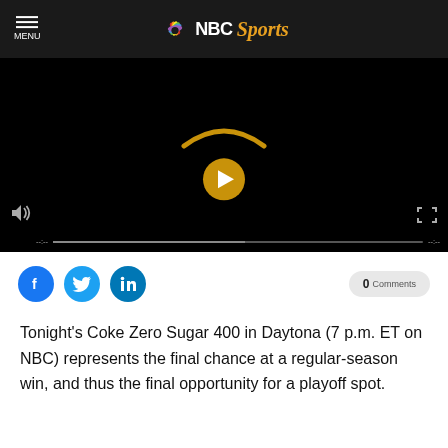NBC Sports
[Figure (screenshot): Video player with black background, Amazon logo curve in gold, play button in gold, video controls bar at bottom]
[Figure (infographic): Social share buttons: Facebook, Twitter, LinkedIn, and 0 Comments button]
Tonight's Coke Zero Sugar 400 in Daytona (7 p.m. ET on NBC) represents the final chance at a regular-season win, and thus the final opportunity for a playoff spot.